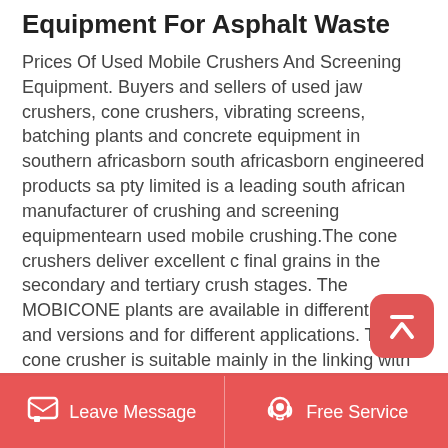Equipment For Asphalt Waste
Prices Of Used Mobile Crushers And Screening Equipment. Buyers and sellers of used jaw crushers, cone crushers, vibrating screens, batching plants and concrete equipment in southern africasborn south africasborn engineered products sa pty limited is a leading south african manufacturer of crushing and screening equipmentearn used mobile crushing.The cone crushers deliver excellent c final grains in the secondary and tertiary crush stages. The MOBICONE plants are available in different sizes and versions and for different applications. The cone crusher is suitable mainly in the linking with primary crushers and screening plants. MCO 90i EVO2 MCO 110i PRO MCO 110 S MCO 130 MCO 130 S.As a mobile crushing and screening
Leave Message   Free Service